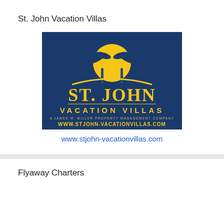St. John Vacation Villas
[Figure (logo): St. John Vacation Villas logo on dark blue background with yellow sun, palm trees, and text: ST. JOHN VACATION VILLAS, A James M. Miller Property Management Company, www.stjohn-vacationvillas.com]
www.stjohn-vacationvillas.com
Flyaway Charters